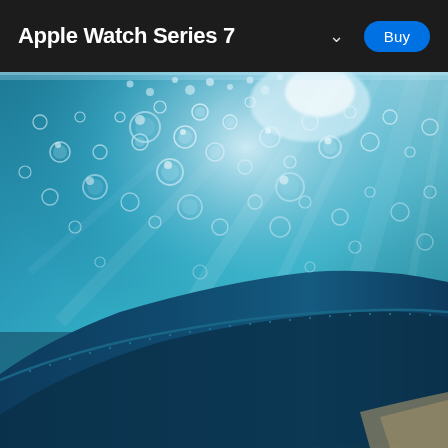Apple Watch Series 7
[Figure (photo): Underwater photo showing a person's arm in a dark teal/blue wetsuit submerged in water with numerous bubbles and light rays streaming through the water surface above]